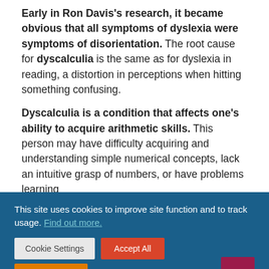Early in Ron Davis's research, it became obvious that all symptoms of dyslexia were symptoms of disorientation. The root cause for dyscalculia is the same as for dyslexia in reading, a distortion in perceptions when hitting something confusing.
Dyscalculia is a condition that affects one's ability to acquire arithmetic skills. This person may have difficulty acquiring and understanding simple numerical concepts, lack an intuitive grasp of numbers, or have problems learning
This site uses cookies to improve site function and to track usage. Find out more.